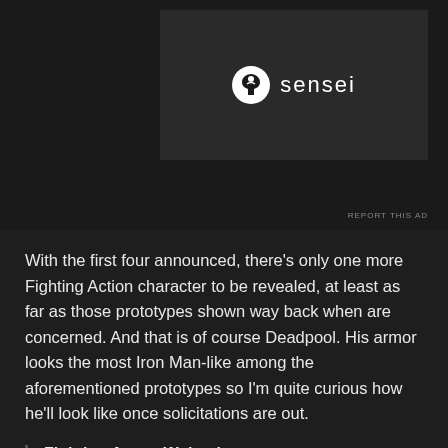[Figure (logo): Sensei logo with tree icon and 'sensei' text on dark background ad unit]
With the first four announced, there's only one more Fighting Action character to be revealed, at least as far as those prototypes shown way back when are concerned. And that is of course Deadpool. His armor looks the most Iron Man-like among the aforementioned prototypes so I'm quite curious how he'll look like once solicitations are out.
Fighting Armor Wolverine
June 2021 / ¥11,000
[Figure (infographic): Social share buttons: Twitter (blue), Facebook (blue), Pinterest (red with badge '1'), Reddit (light blue)]
Advertisements